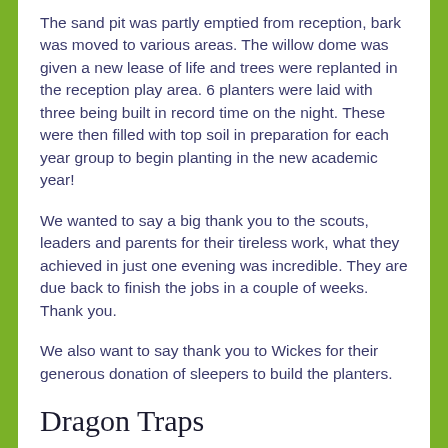The sand pit was partly emptied from reception, bark was moved to various areas. The willow dome was given a new lease of life and trees were replanted in the reception play area. 6 planters were laid with three being built in record time on the night. These were then filled with top soil in preparation for each year group to begin planting in the new academic year!
We wanted to say a big thank you to the scouts, leaders and parents for their tireless work, what they achieved in just one evening was incredible. They are due back to finish the jobs in a couple of weeks. Thank you.
We also want to say thank you to Wickes for their generous donation of sleepers to build the planters.
Dragon Traps
Yesterday afternoon, Year 5 designed and made traps to catch a range of dragons. They used bait and some